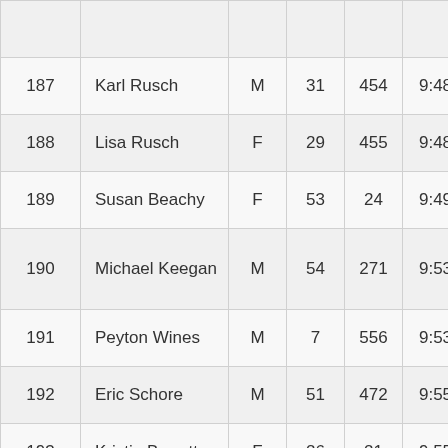| 187 | Karl Rusch | M | 31 | 454 | 9:48 |
| 188 | Lisa Rusch | F | 29 | 455 | 9:48 |
| 189 | Susan Beachy | F | 53 | 24 | 9:49 |
| 190 | Michael Keegan | M | 54 | 271 | 9:53 |
| 191 | Peyton Wines | M | 7 | 556 | 9:53 |
| 192 | Eric Schore | M | 51 | 472 | 9:55 |
| 193 | Kristin Barrett | F | 26 | 21 | 9:55 |
| 194 | Gabriella Diana | F | 29 | 145 | 9:56 |